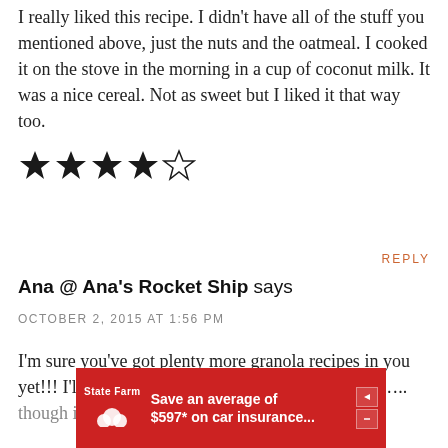I really liked this recipe. I didn't have all of the stuff you mentioned above, just the nuts and the oatmeal. I cooked it on the stove in the morning in a cup of coconut milk. It was a nice cereal. Not as sweet but I liked it that way too.
[Figure (infographic): 4-star rating: 4 filled stars and 1 empty star]
REPLY
Ana @ Ana's Rocket Ship says
OCTOBER 2, 2015 AT 1:56 PM
I'm sure you've got plenty more granola recipes in you yet!!! I'll just have to live with this muesli till then….. though it actually makes a delish!!!
[Figure (infographic): State Farm advertisement banner: Save an average of $597* on car insurance...]